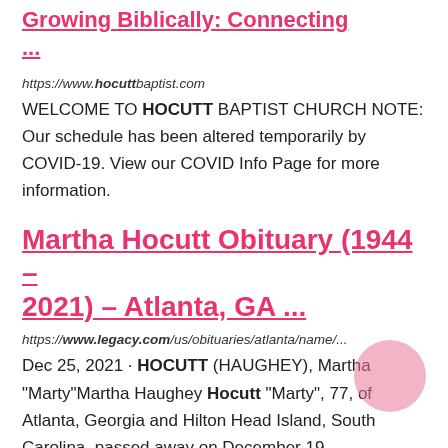Growing Biblically: Connecting ...
https://www.hocuttbaptist.com
WELCOME TO HOCUTT BAPTIST CHURCH NOTE: Our schedule has been altered temporarily by COVID-19. View our COVID Info Page for more information.
Martha Hocutt Obituary (1944 – 2021) – Atlanta, GA ...
https://www.legacy.com/us/obituaries/atlanta/name/...
Dec 25, 2021 · HOCUTT (HAUGHEY), Martha "Marty"Martha Haughey Hocutt "Marty", 77, of Atlanta, Georgia and Hilton Head Island, South Carolina, passed away on December 19,